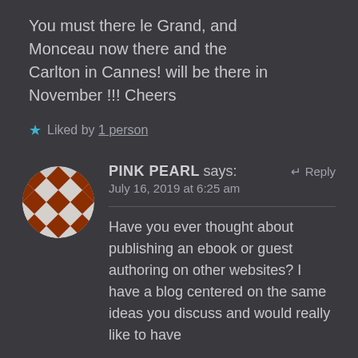You must there le Grand, and Monceau now there and the Carlton in Cannes! will be there in November !!! Cheers
★ Liked by 1 person
[Figure (illustration): Circular avatar with a brown and white diamond/checker pattern on a dark background]
PINK PEARL says:  ↵ Reply
July 16, 2019 at 6:25 am
Have you ever thought about publishing an ebook or guest authoring on other websites? I have a blog centered on the same ideas you discuss and would really like to have